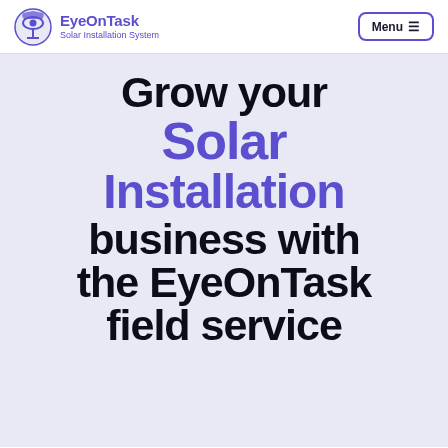EyeOnTask Solar Installation System | Menu
Grow your Solar Installation business with the EyeOnTask field service